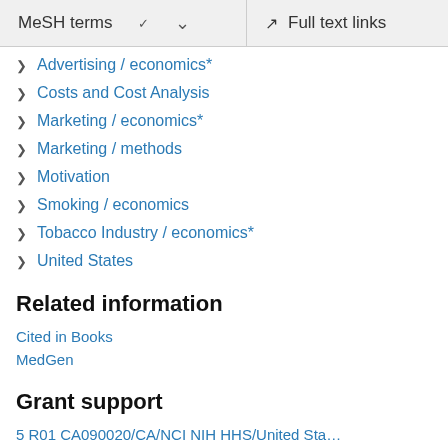MeSH terms  ∨  Full text links
Advertising / economics*
Costs and Cost Analysis
Marketing / economics*
Marketing / methods
Motivation
Smoking / economics
Tobacco Industry / economics*
United States
Related information
Cited in Books
MedGen
Grant support
5 R01 CA090020/CA/NCI NIH HHS/United States